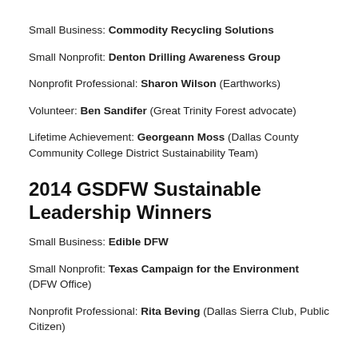Small Business: Commodity Recycling Solutions
Small Nonprofit: Denton Drilling Awareness Group
Nonprofit Professional: Sharon Wilson (Earthworks)
Volunteer: Ben Sandifer (Great Trinity Forest advocate)
Lifetime Achievement: Georgeann Moss (Dallas County Community College District Sustainability Team)
2014 GSDFW Sustainable Leadership Winners
Small Business: Edible DFW
Small Nonprofit: Texas Campaign for the Environment (DFW Office)
Nonprofit Professional: Rita Beving (Dallas Sierra Club, Public Citizen)